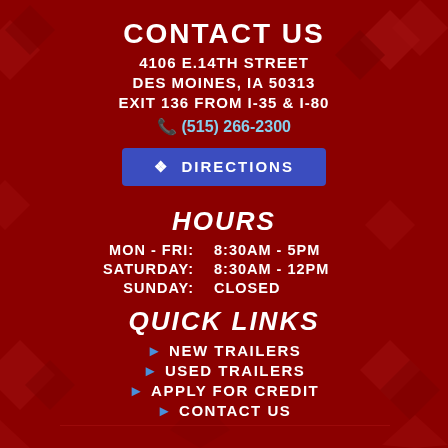CONTACT US
4106 E.14TH STREET
DES MOINES, IA 50313
EXIT 136 FROM I-35 & I-80
(515) 266-2300
DIRECTIONS
HOURS
MON - FRI:        8:30AM - 5PM
SATURDAY:     8:30AM - 12PM
SUNDAY:           CLOSED
QUICK LINKS
NEW TRAILERS
USED TRAILERS
APPLY FOR CREDIT
CONTACT US